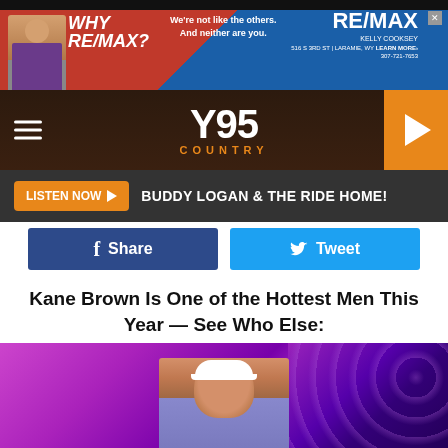[Figure (other): RE/MAX advertisement banner with agent photo, red and blue diagonal background, text 'WHY RE/MAX?' and 'We're not like the others. And neither are you.' with Kelly Cooksey agent info]
[Figure (other): Y95 Country radio station navigation bar with hamburger menu, Y95 COUNTRY logo, and orange play button]
LISTEN NOW ▶  BUDDY LOGAN & THE RIDE HOME!
f Share    Tweet
Kane Brown Is One of the Hottest Men This Year — See Who Else:
[Figure (photo): Kane Brown performing on stage with purple/pink stage lighting, wearing a white cap and plaid shirt]
[Figure (other): The Gill Window Company advertisement: 'IMPROVING HOMES FOR 30+ YEARS' with green left panel and dark right panel, CONTACT US button]